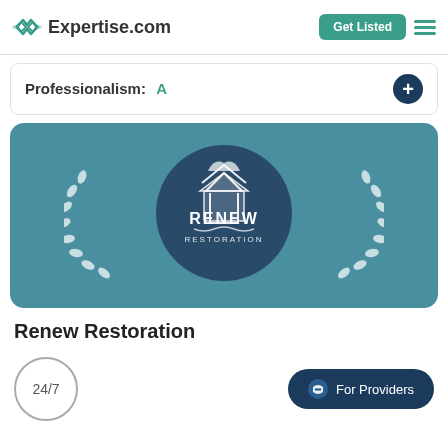Expertise.com | Get Listed
Professionalism: A
[Figure (logo): Renew Restoration company logo on teal background with laurel wreath and circular dark navy emblem]
Renew Restoration
24/7
For Providers